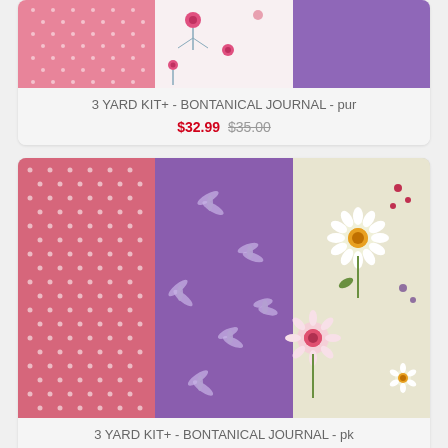[Figure (photo): Three fabric swatches side by side: pink with white dots, white with pink flowers, and purple solid — top portion cropped]
3 YARD KIT+ - BONTANICAL JOURNAL - pur
$32.99 $35.00
[Figure (photo): Three fabric swatches side by side: pink with white polka dots, purple with dragonflies, and cream/light green with daisy flowers]
3 YARD KIT+ - BONTANICAL JOURNAL - pk
$32.99 $35.00